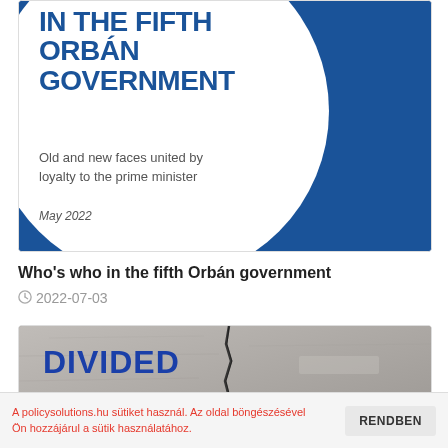[Figure (screenshot): Cover of report: 'Who's who in the fifth Orbán government — Old and new faces united by loyalty to the prime minister — May 2022'. Blue background with large white circle, dark blue bold title text inside.]
Who's who in the fifth Orbán government
2022-07-03
[Figure (photo): Cracked concrete wall photograph with bold blue text reading 'DIVIDED HUNGARY']
A policysolutions.hu sütiket használ. Az oldal böngészésével Ön hozzájárul a sütik használatához.